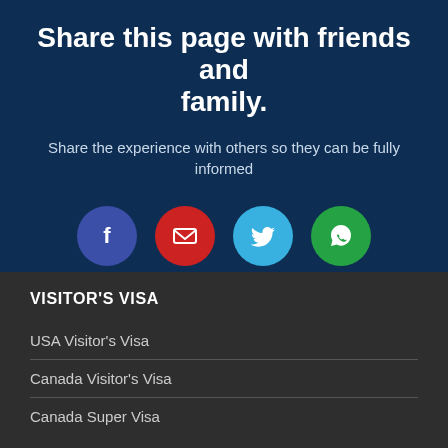Share this page with friends and family.
Share the experience with others so they can be fully informed
[Figure (infographic): Four social sharing icon circles: Facebook (dark blue), Email (red), Twitter (light blue), WhatsApp (green)]
VISITOR'S VISA
USA Visitor's Visa
Canada Visitor's Visa
Canada Super Visa